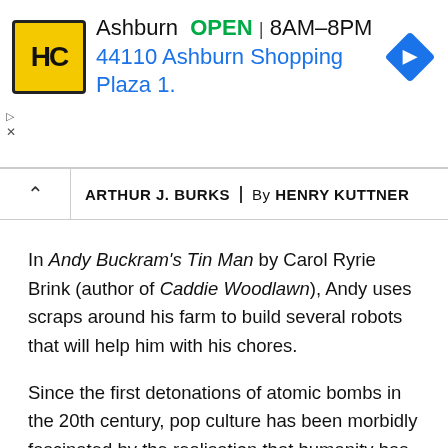[Figure (other): HC hardware store advertisement banner. Shows HC logo in yellow square, text: Ashburn OPEN 8AM–8PM, 44110 Ashburn Shopping Plaza 1., with blue navigation diamond icon on right.]
ARTHUR J. BURKS | By HENRY KUTTNER
In Andy Buckram's Tin Man by Carol Ryrie Brink (author of Caddie Woodlawn), Andy uses scraps around his farm to build several robots that will help him with his chores.
Since the first detonations of atomic bombs in the 20th century, pop culture has been morbidly fascinated by the realisation that humanity has developed tools powerful enough to destroy itself. For instance, Black Mirror reveals our fear of